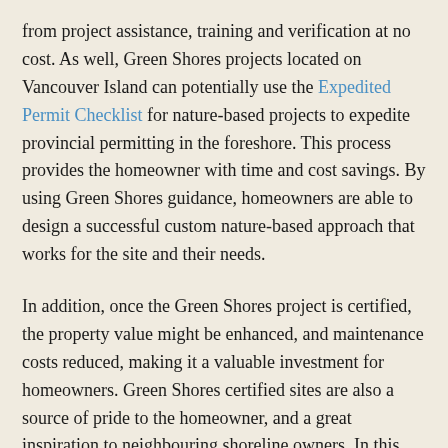from project assistance, training and verification at no cost. As well, Green Shores projects located on Vancouver Island can potentially use the Expedited Permit Checklist for nature-based projects to expedite provincial permitting in the foreshore. This process provides the homeowner with time and cost savings. By using Green Shores guidance, homeowners are able to design a successful custom nature-based approach that works for the site and their needs.
In addition, once the Green Shores project is certified, the property value might be enhanced, and maintenance costs reduced, making it a valuable investment for homeowners. Green Shores certified sites are also a source of pride to the homeowner, and a great inspiration to neighbouring shoreline owners.  In this way, shoreline owners work together to support the environment and promote nature-based solutions in their communities.